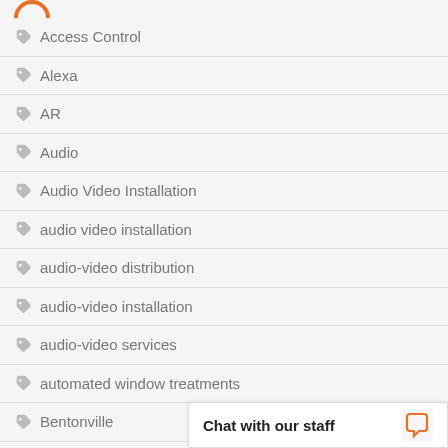[Figure (logo): Partial orange logo icon at top left]
Access Control
Alexa
AR
Audio
Audio Video Installation
audio video installation
audio-video distribution
audio-video installation
audio-video services
automated window treatments
Bentonville
CEDIA
CEPro
commercial audio vi…
Commercial Audio V…
Chat with our staff